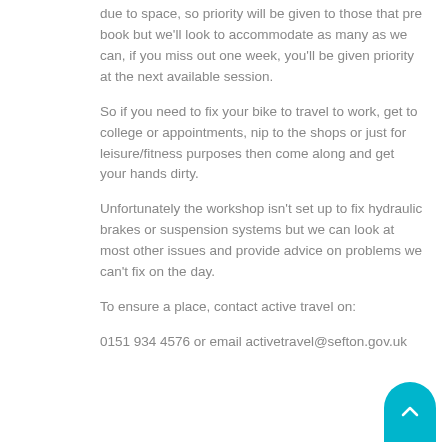due to space, so priority will be given to those that pre book but we'll look to accommodate as many as we can, if you miss out one week, you'll be given priority at the next available session.
So if you need to fix your bike to travel to work, get to college or appointments, nip to the shops or just for leisure/fitness purposes then come along and get your hands dirty.
Unfortunately the workshop isn't set up to fix hydraulic brakes or suspension systems but we can look at most other issues and provide advice on problems we can't fix on the day.
To ensure a place, contact active travel on:
0151 934 4576 or email activetravel@sefton.gov.uk